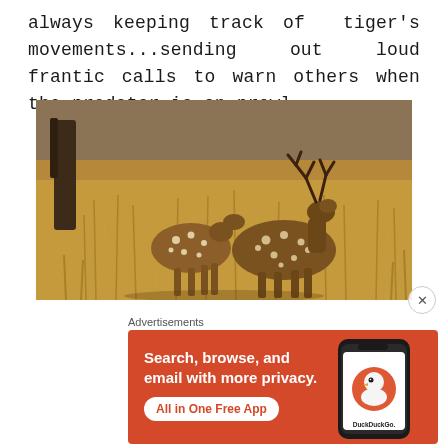always keeping track of tiger's movements...sending out loud frantic calls to warn others when the predator is on prowl.
[Figure (photo): Two spotted deer (chital) standing in tall golden-brown grass in a wildlife reserve. The male deer has antlers and is nuzzling the female.]
Advertisements
[Figure (screenshot): DuckDuckGo advertisement banner with orange background. Text reads: Search, browse, and email with more privacy. All in One Free App. Shows a phone mockup with DuckDuckGo logo and text.]